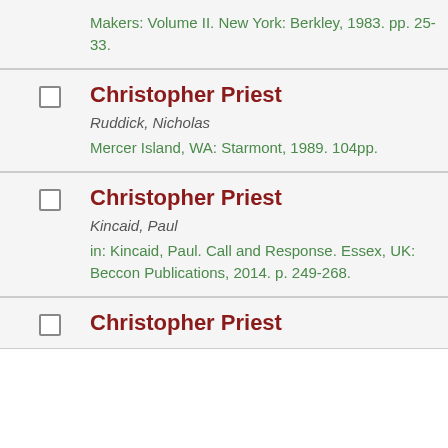Makers: Volume II. New York: Berkley, 1983. pp. 25-33.
Christopher Priest | Ruddick, Nicholas | Mercer Island, WA: Starmont, 1989. 104pp.
Christopher Priest | Kincaid, Paul | in: Kincaid, Paul. Call and Response. Essex, UK: Beccon Publications, 2014. p. 249-268.
Christopher Priest